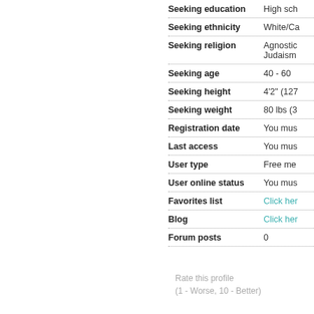| Field | Value |
| --- | --- |
| Seeking education | High sch… |
| Seeking ethnicity | White/Ca… |
| Seeking religion | Agnostic… Judaism… |
| Seeking age | 40 - 60 |
| Seeking height | 4'2" (127… |
| Seeking weight | 80 lbs (3… |
| Registration date | You mus… |
| Last access | You mus… |
| User type | Free me… |
| User online status | You mus… |
| Favorites list | Click her… |
| Blog | Click her… |
| Forum posts | 0 |
Rate this profile
(1 - Worse, 10 - Better)